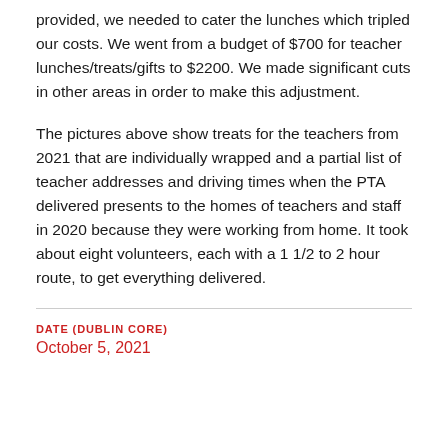provided, we needed to cater the lunches which tripled our costs. We went from a budget of $700 for teacher lunches/treats/gifts to $2200. We made significant cuts in other areas in order to make this adjustment.
The pictures above show treats for the teachers from 2021 that are individually wrapped and a partial list of teacher addresses and driving times when the PTA delivered presents to the homes of teachers and staff in 2020 because they were working from home. It took about eight volunteers, each with a 1 1/2 to 2 hour route, to get everything delivered.
DATE (DUBLIN CORE)
October 5, 2021